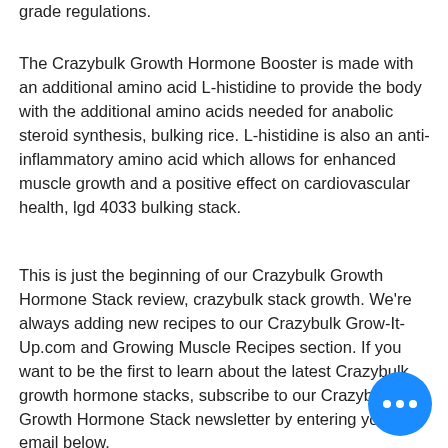grade regulations.
The Crazybulk Growth Hormone Booster is made with an additional amino acid L-histidine to provide the body with the additional amino acids needed for anabolic steroid synthesis, bulking rice. L-histidine is also an anti-inflammatory amino acid which allows for enhanced muscle growth and a positive effect on cardiovascular health, lgd 4033 bulking stack.
This is just the beginning of our Crazybulk Growth Hormone Stack review, crazybulk stack growth. We're always adding new recipes to our Crazybulk Grow-It-Up.com and Growing Muscle Recipes section. If you want to be the first to learn about the latest Crazybulk growth hormone stacks, subscribe to our Crazybulk Growth Hormone Stack newsletter by entering your email below.